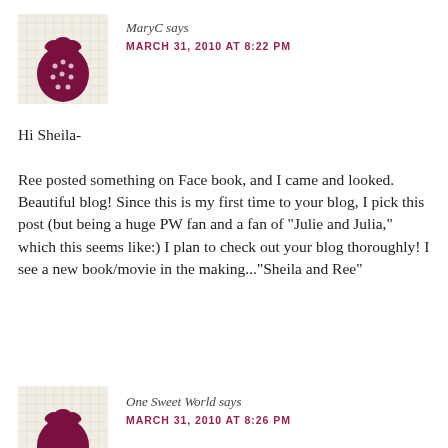[Figure (illustration): Strawberry avatar icon on a light grid/checkered background, dark magenta/maroon strawberry illustration]
MaryC says
MARCH 31, 2010 AT 8:22 PM
Hi Sheila-
Ree posted something on Face book, and I came and looked. Beautiful blog! Since this is my first time to your blog, I pick this post (but being a huge PW fan and a fan of "Julie and Julia," which this seems like:) I plan to check out your blog thoroughly! I see a new book/movie in the making..."Sheila and Ree"
[Figure (illustration): Partial strawberry avatar icon at bottom, same style as above]
One Sweet World says
MARCH 31, 2010 AT 8:26 PM